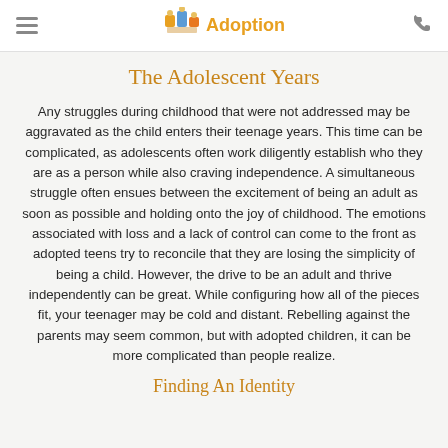Adoption
The Adolescent Years
Any struggles during childhood that were not addressed may be aggravated as the child enters their teenage years. This time can be complicated, as adolescents often work diligently establish who they are as a person while also craving independence. A simultaneous struggle often ensues between the excitement of being an adult as soon as possible and holding onto the joy of childhood. The emotions associated with loss and a lack of control can come to the front as adopted teens try to reconcile that they are losing the simplicity of being a child. However, the drive to be an adult and thrive independently can be great. While configuring how all of the pieces fit, your teenager may be cold and distant. Rebelling against the parents may seem common, but with adopted children, it can be more complicated than people realize.
Finding An Identity